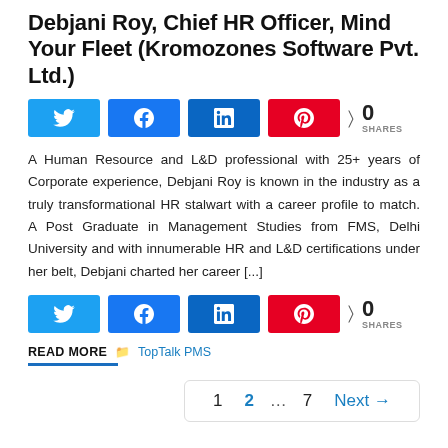Debjani Roy, Chief HR Officer, Mind Your Fleet (Kromozones Software Pvt. Ltd.)
[Figure (infographic): Social share buttons row: Twitter (blue), Facebook (blue), LinkedIn (dark blue), Pinterest (red), and share count showing 0 SHARES]
A Human Resource and L&D professional with 25+ years of Corporate experience, Debjani Roy is known in the industry as a truly transformational HR stalwart with a career profile to match. A Post Graduate in Management Studies from FMS, Delhi University and with innumerable HR and L&D certifications under her belt, Debjani charted her career [...]
[Figure (infographic): Social share buttons row (second): Twitter (blue), Facebook (blue), LinkedIn (dark blue), Pinterest (red), and share count showing 0 SHARES]
READ MORE  TopTalk PMS
1  2  ...  7  Next →